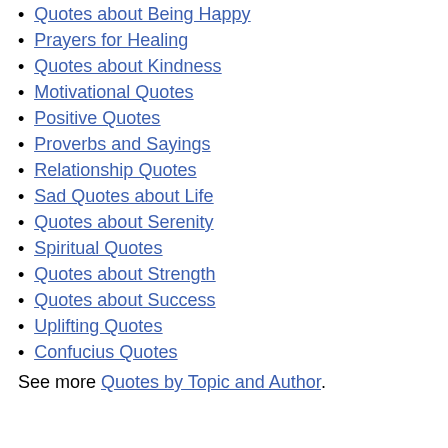Quotes about Being Happy
Prayers for Healing
Quotes about Kindness
Motivational Quotes
Positive Quotes
Proverbs and Sayings
Relationship Quotes
Sad Quotes about Life
Quotes about Serenity
Spiritual Quotes
Quotes about Strength
Quotes about Success
Uplifting Quotes
Confucius Quotes
See more Quotes by Topic and Author.